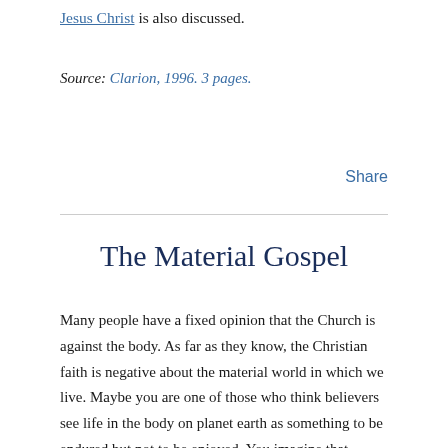Jesus Christ is also discussed.
Source: Clarion, 1996. 3 pages.
Share
The Material Gospel
Many people have a fixed opinion that the Church is against the body. As far as they know, the Christian faith is negative about the material world in which we live. Maybe you are one of those who think believers see life in the body on planet earth as something to be endured but not to be enjoyed. You imagine that Christians are actually looking forward to escaping the body in order to have a purely spiritual life in heaven. Images may arise in your mind of disembodied spirits flitting from cloud to white cloud while playing purely spiritual harps. The impression that the Church is very negative about the body may be part of the reason many folks don't show a lot of interest in the Church. After all, this is a material world.